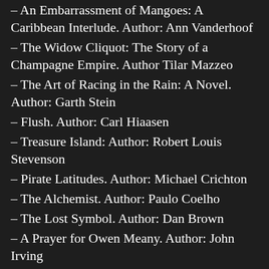– An Embarrassment of Mangoes: A Caribbean Interlude.  Author: Ann Vanderhoof
– The Widow Cliquot:  The Story of a Champagne Empire.  Author Tilar Mazzeo
– The Art of Racing in the Rain:  A Novel.  Author:  Garth Stein
– Flush.  Author:  Carl Hiaasen
– Treasure Island:  Author:  Robert Louis Stevenson
– Pirate Latitudes.  Author:  Michael Crichton
– The Alchemist.  Author:  Paulo Coelho
– The Lost Symbol.  Author:  Dan Brown
– A Prayer for Owen Meany.  Author:  John Irving
– Heart of Darkness.  Author:  Joseph Conrad
– The Secret Sharer:  Author:  Joseph Conrad
– A Confederacy of Dunces.  Author:  John